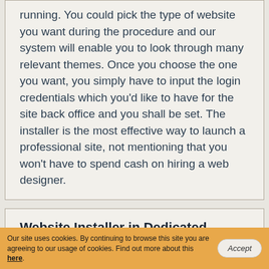running. You could pick the type of website you want during the procedure and our system will enable you to look through many relevant themes. Once you choose the one you want, you simply have to input the login credentials which you'd like to have for the site back office and you shall be set. The installer is the most effective way to launch a professional site, not mentioning that you won't have to spend cash on hiring a web designer.
Website Installer in Dedicated Servers Hosting
The website installer we offer with our dedicated server packages is part of the in-house developed Hepsia Control Panel and features the same user-friendly interface,
Our site uses cookies. By continuing to browse this site you are agreeing to our usage of cookies. Find out more about this here.